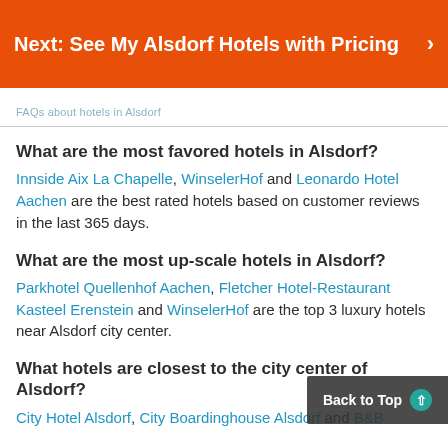Next: See My Alsdorf Hotels with Pricing
FAQs about hotels in Alsdorf
What are the most favored hotels in Alsdorf?
Innside Aix La Chapelle, WinselerHof and Leonardo Hotel Aachen are the best rated hotels based on customer reviews in the last 365 days.
What are the most up-scale hotels in Alsdorf?
Parkhotel Quellenhof Aachen, Fletcher Hotel-Restaurant Kasteel Erenstein and WinselerHof are the top 3 luxury hotels near Alsdorf city center.
What hotels are closest to the city center of Alsdorf?
City Hotel Alsdorf, City Boardinghouse Alsdorf and B&B ...